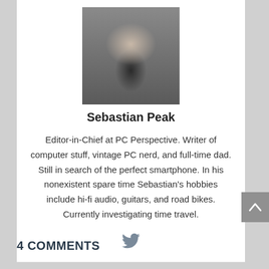[Figure (photo): Headshot photo of Sebastian Peak, a man in a dark shirt against a light background]
Sebastian Peak
Editor-in-Chief at PC Perspective. Writer of computer stuff, vintage PC nerd, and full-time dad. Still in search of the perfect smartphone. In his nonexistent spare time Sebastian's hobbies include hi-fi audio, guitars, and road bikes. Currently investigating time travel.
[Figure (illustration): Twitter bird icon]
4 COMMENTS